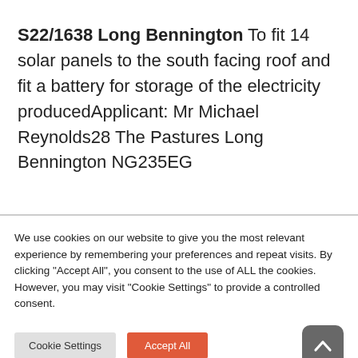S22/1638 Long Bennington To fit 14 solar panels to the south facing roof and fit a battery for storage of the electricity producedApplicant: Mr Michael Reynolds28 The Pastures Long Bennington NG235EG
We use cookies on our website to give you the most relevant experience by remembering your preferences and repeat visits. By clicking "Accept All", you consent to the use of ALL the cookies. However, you may visit "Cookie Settings" to provide a controlled consent.